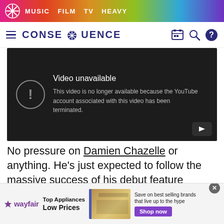MUSIC  FILM  TV  HEAVY
CONSEQUENCE
[Figure (screenshot): YouTube embedded video player showing error: 'Video unavailable. This video is no longer available because the YouTube account associated with this video has been terminated.']
No pressure on Damien Chazelle or anything. He's just expected to follow the massive success of his debut feature Whiplash with something equally deserving of Oscar nominations and near-uniform
[Figure (other): Wayfair advertisement banner: 'Top Appliances Low Prices — Save on best selling brands that live up to the hype. Shop now.']